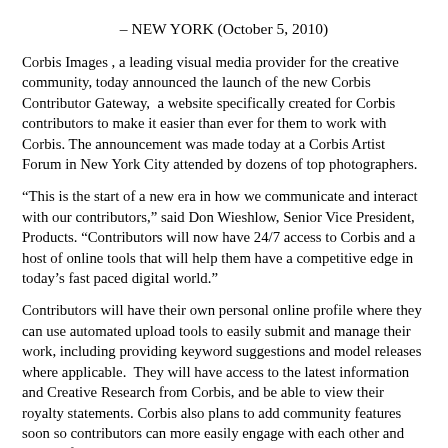– NEW YORK (October 5, 2010)
Corbis Images , a leading visual media provider for the creative community, today announced the launch of the new Corbis Contributor Gateway,  a website specifically created for Corbis contributors to make it easier than ever for them to work with Corbis. The announcement was made today at a Corbis Artist Forum in New York City attended by dozens of top photographers.
“This is the start of a new era in how we communicate and interact with our contributors,” said Don Wieshlow, Senior Vice President, Products. “Contributors will now have 24/7 access to Corbis and a host of online tools that will help them have a competitive edge in today’s fast paced digital world.”
Contributors will have their own personal online profile where they can use automated upload tools to easily submit and manage their work, including providing keyword suggestions and model releases where applicable.  They will have access to the latest information and Creative Research from Corbis, and be able to view their royalty statements. Corbis also plans to add community features soon so contributors can more easily engage with each other and share information.